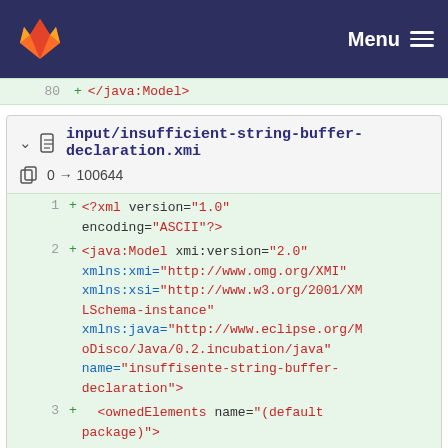Menu
80 + </java:Model>
input/insufficient-string-buffer-declaration.xmi
0 → 100644
1 + <?xml version="1.0" encoding="ASCII"?>
2 + <java:Model xmi:version="2.0" xmlns:xmi="http://www.omg.org/XMI" xmlns:xsi="http://www.w3.org/2001/XMLSchema-instance" xmlns:java="http://www.eclipse.org/MoDisco/Java/0.2.incubation/java" name="insuffisente-string-buffer-declaration">
3 + <ownedElements name="(default package)">
4 + <ownedElements xsi:type="java:ClassDeclaration" originalCompilationUnit="//@compilat